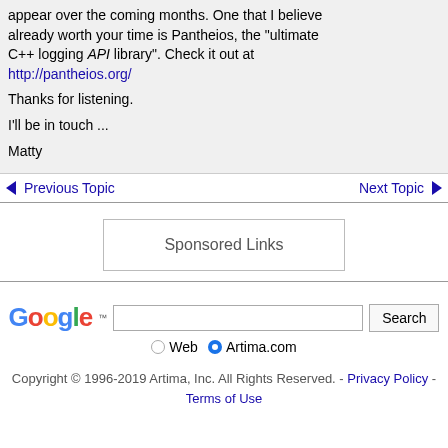appear over the coming months. One that I believe already worth your time is Pantheios, the "ultimate C++ logging API library". Check it out at http://pantheios.org/

Thanks for listening.

I'll be in touch ...

Matty
◄ Previous Topic   Next Topic ►
Sponsored Links
[Figure (other): Google search box with Web and Artima.com radio button options]
Copyright © 1996-2019 Artima, Inc. All Rights Reserved. - Privacy Policy - Terms of Use